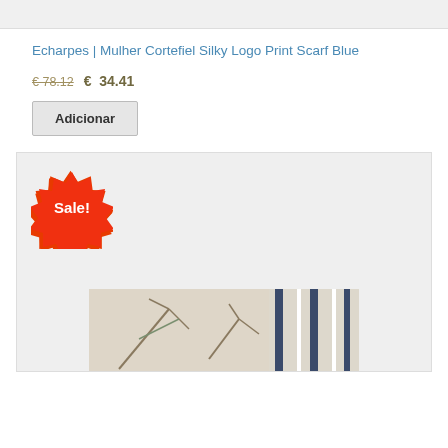[Figure (photo): Top portion of a product image (cropped at top)]
Echarpes | Mulher Cortefiel Silky Logo Print Scarf Blue
€ 78.12  €  34.41
Adicionar
[Figure (photo): Product image showing a scarf with floral/branch print and blue stripe pattern, with a red Sale! badge in the upper left corner]